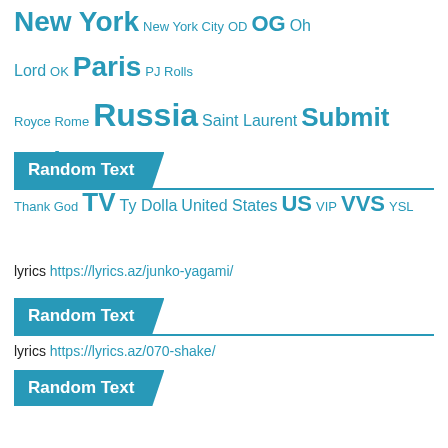New York New York City OD OG Oh Lord OK Paris PJ Rolls Royce Rome Russia Saint Laurent Submit Lyrics Thank God TV Ty Dolla United States US VIP VVS YSL
Random Text
lyrics https://lyrics.az/junko-yagami/
Random Text
lyrics https://lyrics.az/070-shake/
Random Text